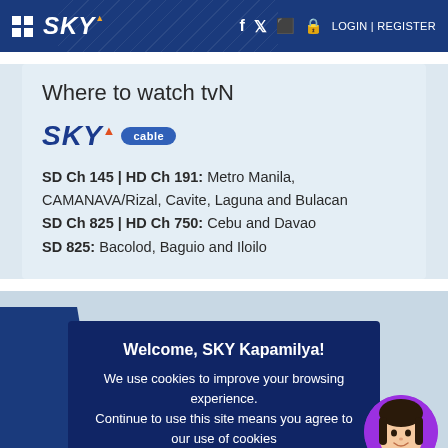SKY — Navigation bar with grid icon, SKY logo, social icons, LOGIN | REGISTER
Where to watch tvN
[Figure (logo): SKY cable logo — stylized italic SKY text with orange arrow accent and 'cable' badge in blue rounded rectangle]
SD Ch 145 | HD Ch 191: Metro Manila, CAMANAVA/Rizal, Cavite, Laguna and Bulacan
SD Ch 825 | HD Ch 750: Cebu and Davao
SD 825: Bacolod, Baguio and Iloilo
Welcome, SKY Kapamilya!
We use cookies to improve your browsing experience.
Continue to use this site means you agree to our use of cookies
Tell me more!